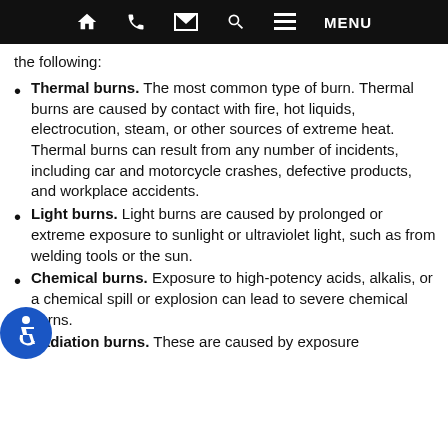Home | Phone | Email | Search | Menu
the following:
Thermal burns. The most common type of burn. Thermal burns are caused by contact with fire, hot liquids, electrocution, steam, or other sources of extreme heat. Thermal burns can result from any number of incidents, including car and motorcycle crashes, defective products, and workplace accidents.
Light burns. Light burns are caused by prolonged or extreme exposure to sunlight or ultraviolet light, such as from welding tools or the sun.
Chemical burns. Exposure to high-potency acids, alkalis, or a chemical spill or explosion can lead to severe chemical burns.
Radiation burns. These are caused by exposure